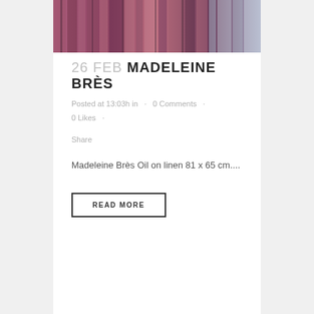[Figure (photo): Abstract oil painting with purple, pink, red and light blue vertical brushstrokes on linen, cropped at the top of the card]
26 FEB MADELEINE BRÈS
Posted at 13:03h in · 0 Comments · 0 Likes · Share
Madeleine Brès Oil on linen 81 x 65 cm....
READ MORE